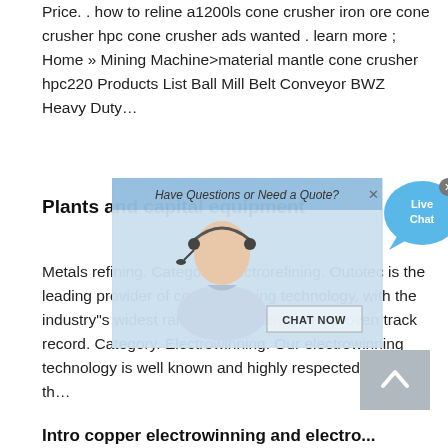Price. . how to reline a1200ls cone crusher iron ore cone crusher hpc cone crusher ads wanted . learn more ; Home » Mining Machine>material mantle cone crusher hpc220 Products List Ball Mill Belt Conveyor BWZ Heavy Duty…
Plants and capital equipment
[Figure (screenshot): Live chat popup overlay with a customer service representative photo and 'Have Questions or Need a Quote?' header, with a close button and 'CHAT NOW' button. A blue speech bubble with 'Live Chat' text is shown to the right.]
Metals refining. Category. Electrorefining. Outotec is the leading provider of copper refining technology, with the industry"s widest range of solutions and a proven track record. Category. Electrowinning. Our electrowinning technology is well known and highly respected around th…
Intro copper electrowinning and electro...